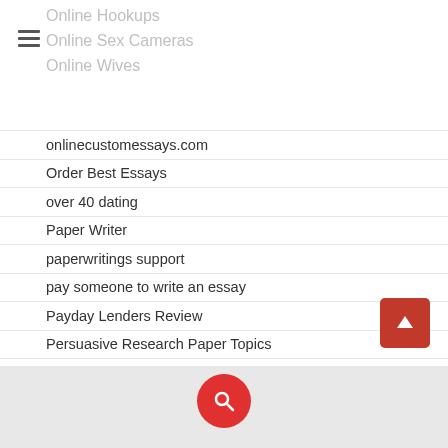Online Hookups
Online Sex Cameras
Online Wives
onlinecustomessays.com
Order Best Essays
over 40 dating
Paper Writer
paperwritings support
pay someone to write an essay
Payday Lenders Review
Persuasive Research Paper Topics
Persuasive Speech Topics
Persuasive Speech Topics For College
Persuasive Topic Idea
Persuasive Topics
Philipina Brides Club
play indian dreaming slot
play pokies online free
Play Solitaire Online
Poem topics